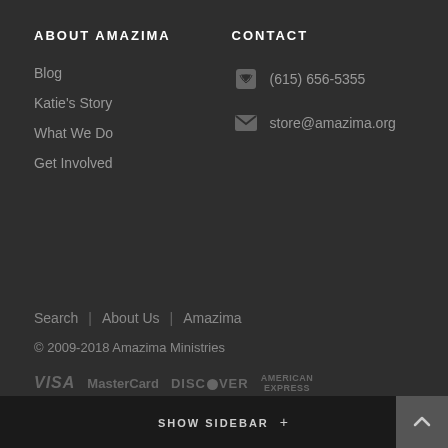ABOUT AMAZIMA
Blog
Katie's Story
What We Do
Get Involved
CONTACT
(615) 656-5355
store@amazima.org
Search | About Us | Amazima
© 2009-2018 Amazima Ministries
[Figure (logo): Payment logos: VISA, MasterCard, DISCOVER, AMERICAN EXPRESS in grey]
SHOW SIDEBAR +